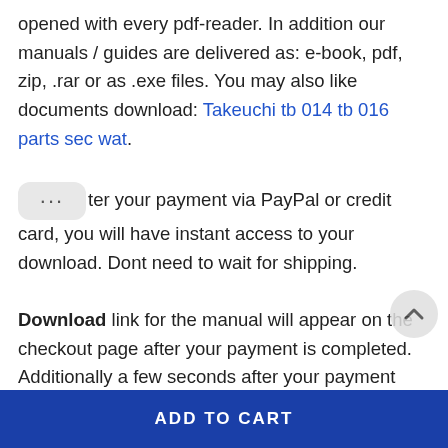opened with every pdf-reader. In addition our manuals / guides are delivered as: e-book, pdf, zip, .rar or as .exe files. You may also like documents download: Takeuchi tb 014 tb 016 parts sec wat. After your payment via PayPal or credit card, you will have instant access to your download. Dont need to wait for shipping.

Download link for the manual will appear on the checkout page after your payment is completed. Additionally a few seconds after your payment you will receive an email with your instant manual download link. You have three days after payment...
ADD TO CART